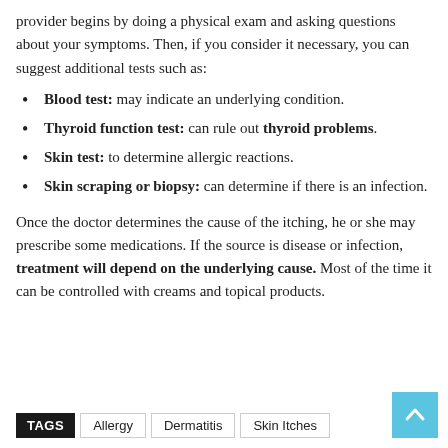provider begins by doing a physical exam and asking questions about your symptoms. Then, if you consider it necessary, you can suggest additional tests such as:
Blood test: may indicate an underlying condition.
Thyroid function test: can rule out thyroid problems.
Skin test: to determine allergic reactions.
Skin scraping or biopsy: can determine if there is an infection.
Once the doctor determines the cause of the itching, he or she may prescribe some medications. If the source is disease or infection, treatment will depend on the underlying cause. Most of the time it can be controlled with creams and topical products.
TAGS  Allergy  Dermatitis  Skin Itches